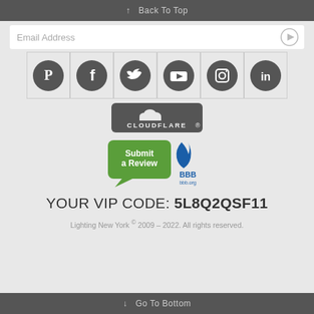↑ Back To Top
Email Address
[Figure (illustration): Row of six social media icon circles (Pinterest, Facebook, Twitter, YouTube, Instagram, LinkedIn) in dark gray]
[Figure (logo): Cloudflare badge with cloud icon and CLOUDFLARE text on dark rounded rectangle]
[Figure (logo): BBB Submit a Review badge with green speech bubble and blue BBB flame logo]
YOUR VIP CODE: 5L8Q2QSF11
Lighting New York © 2009 – 2022. All rights reserved.
↓ Go To Bottom